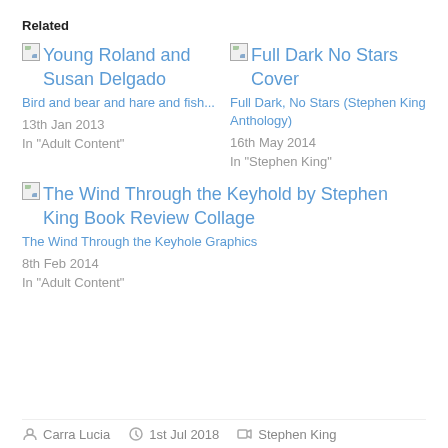Related
Young Roland and Susan Delgado
Bird and bear and hare and fish...
13th Jan 2013
In "Adult Content"
Full Dark No Stars Cover
Full Dark, No Stars (Stephen King Anthology)
16th May 2014
In "Stephen King"
The Wind Through the Keyhold by Stephen King Book Review Collage
The Wind Through the Keyhole Graphics
8th Feb 2014
In "Adult Content"
Carra Lucia   1st Jul 2018   Stephen King